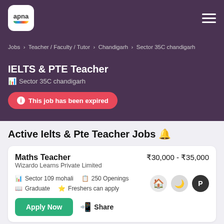[Figure (logo): Apna app logo - white rounded square with 'apna' text and colorful stripe]
Jobs > Teacher / Faculty / Tutor > Chandigarh > Sector 35C chandigarh
IELTS & PTE Teacher
Sector 35C chandigarh
This job has been expired
Active Ielts & Pte Teacher Jobs 🔔
Maths Teacher
₹30,000 - ₹35,000
Wizardo Learns Private Limited
Sector 109 mohali   250 Openings   Graduate   Freshers can apply
Apply Now   Share